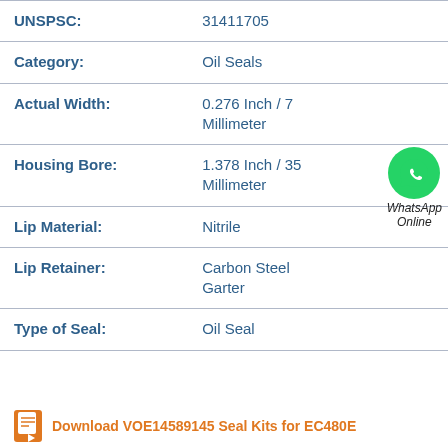| Field | Value |
| --- | --- |
| UNSPSC: | 31411705 |
| Category: | Oil Seals |
| Actual Width: | 0.276 Inch / 7 Millimeter |
| Housing Bore: | 1.378 Inch / 35 Millimeter |
| Lip Material: | Nitrile |
| Lip Retainer: | Carbon Steel Garter |
| Type of Seal: | Oil Seal |
[Figure (logo): WhatsApp green circle icon with phone handset, with text 'WhatsApp Online' below]
Download VOE14589145 Seal Kits for EC480E